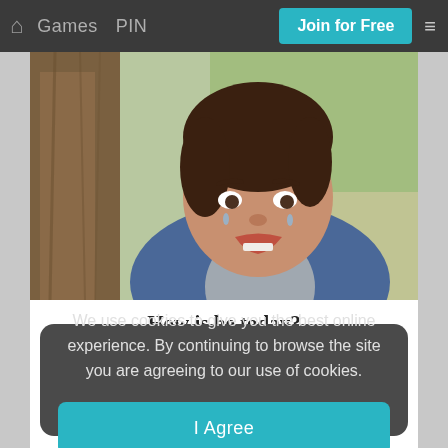Games  PIN  Join for Free  ≡
[Figure (photo): A young boy crying, leaning against a tree trunk, wearing a denim hoodie jacket, with a blurred green park background.]
How is he today?
We use cookies to give you the best online experience. By continuing to browse the site you are agreeing to our use of cookies.
I Agree